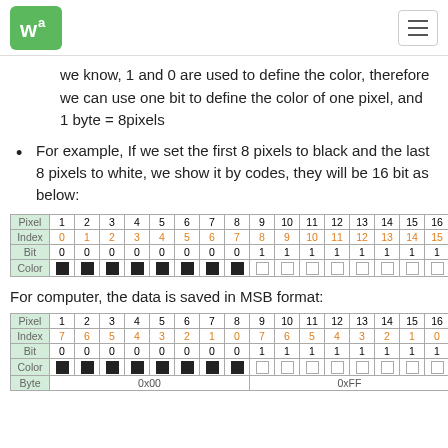Waveshare logo and navigation
we know, 1 and 0 are used to define the color, therefore we can use one bit to define the color of one pixel, and 1 byte = 8pixels
For example, If we set the first 8 pixels to black and the last 8 pixels to white, we show it by codes, they will be 16 bit as below:
| Pixel | 1 | 2 | 3 | 4 | 5 | 6 | 7 | 8 | 9 | 10 | 11 | 12 | 13 | 14 | 15 | 16 |
| --- | --- | --- | --- | --- | --- | --- | --- | --- | --- | --- | --- | --- | --- | --- | --- | --- |
| Index | 0 | 1 | 2 | 3 | 4 | 5 | 6 | 7 | 8 | 9 | 10 | 11 | 12 | 13 | 14 | 15 |
| Bit | 0 | 0 | 0 | 0 | 0 | 0 | 0 | 0 | 1 | 1 | 1 | 1 | 1 | 1 | 1 | 1 |
| Color | ■ | ■ | ■ | ■ | ■ | ■ | ■ | ■ | □ | □ | □ | □ | □ | □ | □ | □ |
For computer, the data is saved in MSB format:
| Pixel | 1 | 2 | 3 | 4 | 5 | 6 | 7 | 8 | 9 | 10 | 11 | 12 | 13 | 14 | 15 | 16 |
| --- | --- | --- | --- | --- | --- | --- | --- | --- | --- | --- | --- | --- | --- | --- | --- | --- |
| Index | 7 | 6 | 5 | 4 | 3 | 2 | 1 | 0 | 7 | 6 | 5 | 4 | 3 | 2 | 1 | 0 |
| Bit | 0 | 0 | 0 | 0 | 0 | 0 | 0 | 0 | 1 | 1 | 1 | 1 | 1 | 1 | 1 | 1 |
| Color | ■ | ■ | ■ | ■ | ■ | ■ | ■ | ■ | □ | □ | □ | □ | □ | □ | □ | □ |
| Byte | 0x00 |  |  |  |  |  |  |  | 0xFF |  |  |  |  |  |  |  |